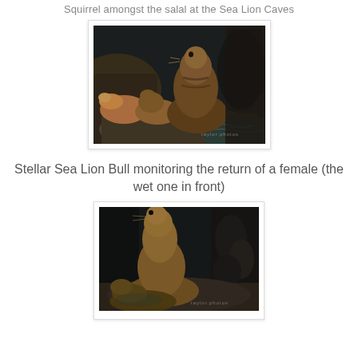Squirrel amongst the salal at the Sea Lion Caves
[Figure (photo): Sea lions resting on rocks inside a cave, with one large sea lion prominently in the center. Watermark reads 'taylor.photos']
Stellar Sea Lion Bull monitoring the return of a female (the wet one in front)
[Figure (photo): A Stellar Sea Lion Bull on rocks inside a cave with another sea lion in front, dark background with rocky cave walls. Watermark reads 'taylor.photos']